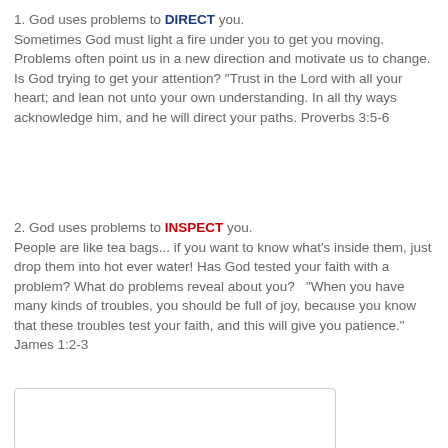1. God uses problems to DIRECT you. Sometimes God must light a fire under you to get you moving. Problems often point us in a new direction and motivate us to change. Is God trying to get your attention? "Trust in the Lord with all your heart; and lean not unto your own understanding. In all thy ways acknowledge him, and he will direct your paths. Proverbs 3:5-6
2. God uses problems to INSPECT you. People are like tea bags... if you want to know what's inside them, just drop them into hot ever water! Has God tested your faith with a problem? What do problems reveal about you?  "When you have many kinds of troubles, you should be full of joy, because you know that these troubles test your faith, and this will give you patience." James 1:2-3